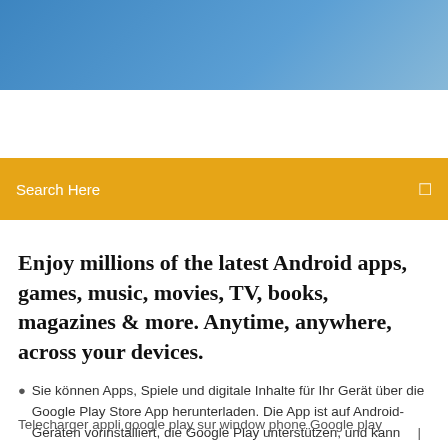[Figure (photo): Blue sky gradient header banner image]
Search Here
Enjoy millions of the latest Android apps, games, music, movies, TV, books, magazines & more. Anytime, anywhere, across your devices.
Sie können Apps, Spiele und digitale Inhalte für Ihr Gerät über die Google Play Store App herunterladen. Die App ist auf Android-Geräten vorinstalliert, die Google Play unterstützen, und kann   |   4 Comments
Telecharger appli google play sur window phone Google play